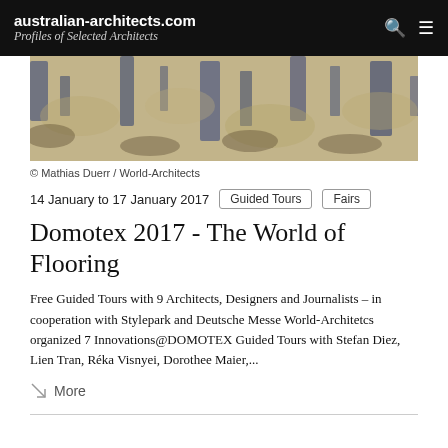australian-architects.com
Profiles of Selected Architects
[Figure (photo): Aerial or abstract textured image with blue and tan tones, appears to be flooring or textile material.]
© Mathias Duerr / World-Architects
14 January to 17 January 2017
Guided Tours
Fairs
Domotex 2017 - The World of Flooring
Free Guided Tours with 9 Architects, Designers and Journalists – in cooperation with Stylepark and Deutsche Messe World-Architetcs organized 7 Innovations@DOMOTEX Guided Tours with Stefan Diez, Lien Tran, Réka Visnyei, Dorothee Maier,...
More